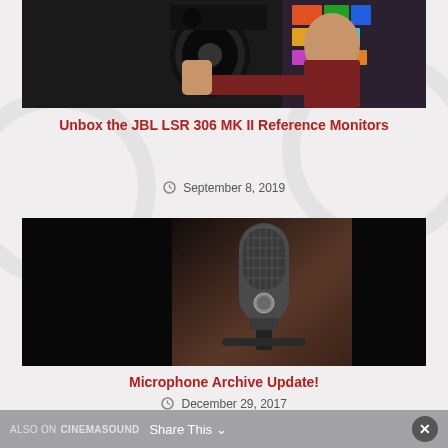[Figure (photo): Person holding a JBL speaker monitor in a studio setting, dark background]
Unbox the JBL LSR 306 MK II Reference Monitors
September 8, 2019
[Figure (photo): Close-up of a condenser microphone (AKG style) in a dark studio setting]
Microphone Archive Update!
December 29, 2017
ALSO ON CINEMASOUND Share This ×